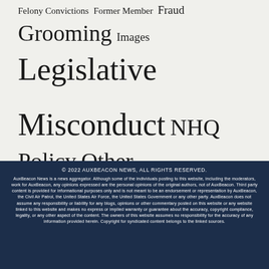[Figure (infographic): Tag cloud showing various misconduct and policy categories in varying font sizes indicating frequency/weight: Felony Convictions, Former Member, Fraud, Grooming, Images, Legislative, Misconduct, NHQ Policy, Other, Racism, Rape, Safety, Sexual Harassment, Stolen Valor, Suicide, Theft, Waste, Whistleblower Reprisal]
© 2022 AUXBEACON NEWS, ALL RIGHTS RESERVED. AuxBeacon News is a news aggregator. Although some of the individuals posting to this website, including the moderators, work for AuxBeacon, any opinions expressed are the personal opinions of the original authors, not of AuxBeacon. Third party content is provided for informational purposes only and is not meant to be an endorsement or representation by AuxBeacon, the Civil Air Patrol, the United States Air Force, the United States Government or any other party. AuxBeacon does not assume any responsibility or liability for any blogs, opinions or other commentary posted on this website or any website linked to this website and makes no express or implied warranty or guarantee about the accuracy, copyright compliance, legality, or any other aspect of the content. The owners of this website assumes no responsibility for the accuracy of any information provided herein. Copyright for syndicated content belongs to the linked sources.